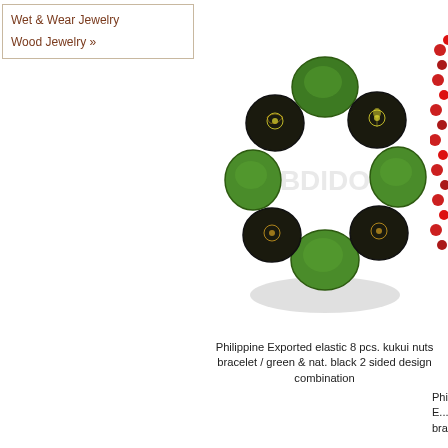Wet & Wear Jewelry
Wood Jewelry »
[Figure (photo): Green and black kukui nuts elastic bracelet from Philippine export, circular arrangement of round beads]
Philippine Exported elastic 8 pcs. kukui nuts bracelet / green & nat. black 2 sided design combination
[Figure (photo): Partial view of red beaded bracelet on right side]
Philippine E... bra...
[Figure (photo): Black macrame MOP shell id bracelet with adjustable cord and rectangular shell centerpiece]
Philippine Exported black macrame MOP shell id bracelet
[Figure (photo): Partial view of blue beaded bracelet on right side]
Philippine E... w...
[Figure (photo): Partial view of dark brown cord bracelet at bottom]